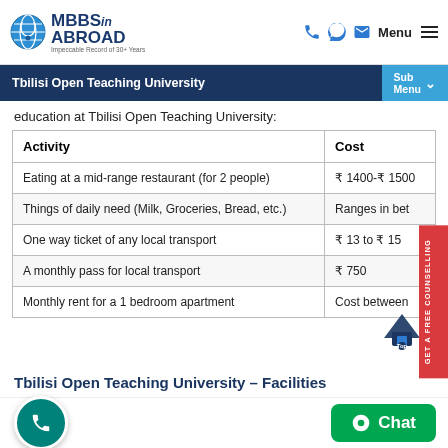[Figure (logo): MBBS in Abroad logo with globe icon]
Tbilisi Open Teaching University | Sub Menu
education at Tbilisi Open Teaching University:
| Activity | Cost |
| --- | --- |
| Eating at a mid-range restaurant (for 2 people) | ₹ 1400-₹ 1500 |
| Things of daily need (Milk, Groceries, Bread, etc.) | Ranges in bet |
| One way ticket of any local transport | ₹ 13 to ₹ 15 |
| A monthly pass for local transport | ₹ 750 |
| Monthly rent for a 1 bedroom apartment | Cost between |
Tbilisi Open Teaching University – Facilities